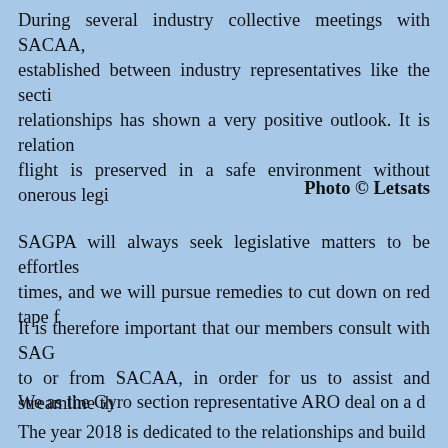During several industry collective meetings with SACAA, established between industry representatives like the secti relationships has shown a very positive outlook. It is relation flight is preserved in a safe environment without onerous legi
Photo © Letsats
SAGPA will always seek legislative matters to be effortles times, and we will pursue remedies to cut down on red tape f
It is therefore important that our members consult with SAG to or from SACAA, in order for us to assist and streamline th
We as the Gyro section representative ARO deal on a d responsibility to stay up to date with the latest legislation, rec be our member's first port of call when dealing with the auth between our members and the authority, as we can assist with requests our members have with or from SACAA.
The year 2018 is dedicated to the relationships and build